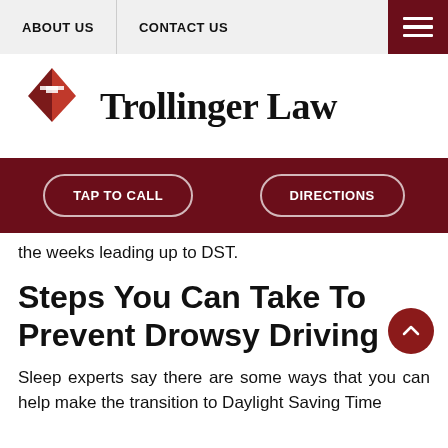ABOUT US | CONTACT US
[Figure (logo): Trollinger Law logo with red diamond/arrow geometric mark and serif text 'Trollinger Law']
TAP TO CALL | DIRECTIONS
the weeks leading up to DST.
Steps You Can Take To Prevent Drowsy Driving
Sleep experts say there are some ways that you can help make the transition to Daylight Saving Time